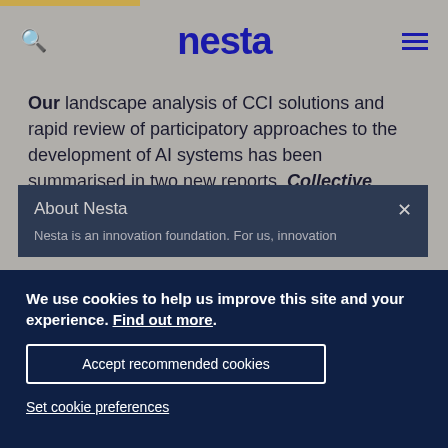nesta
Our landscape analysis of CCI solutions and rapid review of participatory approaches to the development of AI systems has been summarised in two new reports, Collective
About Nesta
Nesta is an innovation foundation. For us, innovation
We use cookies to help us improve this site and your experience. Find out more.
Accept recommended cookies
Set cookie preferences